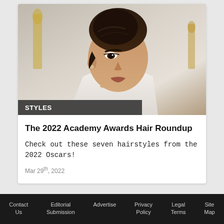[Figure (photo): Woman with dark hair in an elegant updo, wearing a white shirt and delicate necklace, photographed at what appears to be an awards event with golden statue decorations in the background.]
STYLES
The 2022 Academy Awards Hair Roundup
Check out these seven hairstyles from the 2022 Oscars!
Mar 29th, 2022
Contact Us   Editorial Submission   Advertise   Privacy Policy   Legal Terms   Site Map